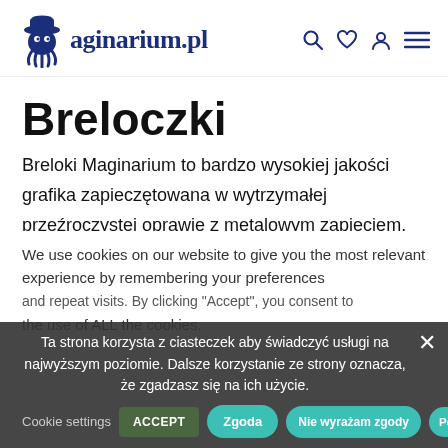[Figure (logo): Maginarium.pl logo with octopus character in top hat, blue text]
Breloczki
Breloki Maginarium to bardzo wysokiej jakości grafika zapieczętowana w wytrzymałej przeźroczystej oprawie z metalowym zapięciem. To idealny sposób żeby
We use cookies on our website to give you the most relevant experience by remembering your preferences and... the use of ALL the cookies.
Ta strona korzysta z ciasteczek aby świadczyć usługi na najwyższym poziomie. Dalsze korzystanie ze strony oznacza, że zgadzasz się na ich użycie.
Cookie settings  ACCEPT  Zgoda  Nie wyrażam zgody  Polityka prywatności